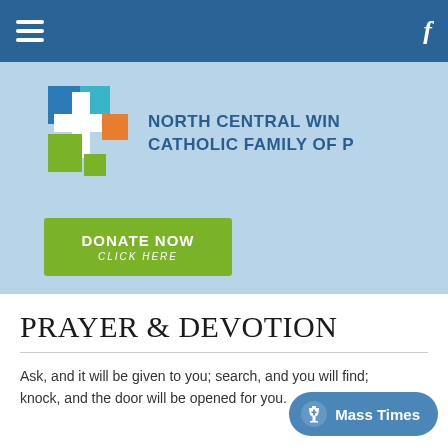Navigation bar with hamburger menu and Facebook icon
[Figure (logo): North Central Wisconsin Catholic Family of Parishes logo with colorful cross made of blue, teal, green, and orange squares]
NORTH CENTRAL WIN... CATHOLIC FAMILY OF P...
DONATE NOW CLICK HERE
PRAYER & DEVOTION
Ask, and it will be given to you; search, and you will find; knock, and the door will be opened for you.
Mass Times